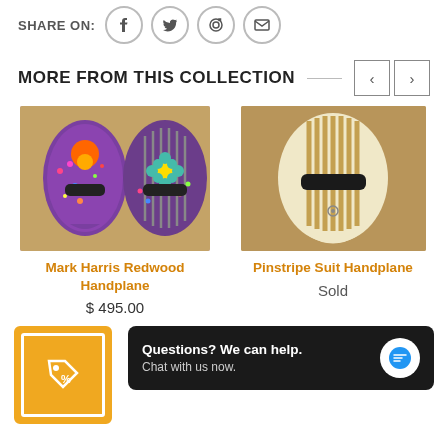SHARE ON: [Facebook] [Twitter] [Pinterest] [Email]
MORE FROM THIS COLLECTION
[Figure (photo): Mark Harris Redwood Handplane - two decorated wooden handplanes with colorful dot art patterns]
Mark Harris Redwood Handplane
$ 495.00
[Figure (photo): Pinstripe Suit Handplane - a wooden handplane with vertical wood slat design and black handle]
Pinstripe Suit Handplane
Sold
[Figure (other): Orange promotional badge/tag icon with sale tag symbol]
Questions? We can help. Chat with us now.